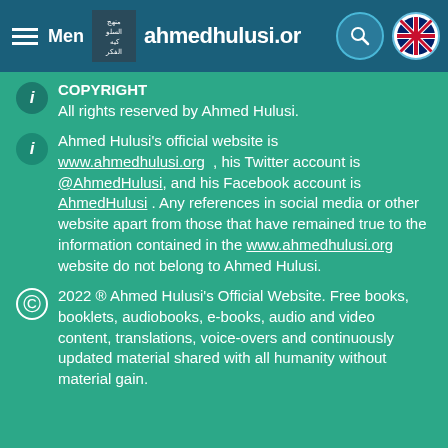Menu | ahmedhulusi.or
COPYRIGHT
All rights reserved by Ahmed Hulusi.
Ahmed Hulusi's official website is www.ahmedhulusi.org , his Twitter account is @AhmedHulusi, and his Facebook account is AhmedHulusi . Any references in social media or other website apart from those that have remained true to the information contained in the www.ahmedhulusi.org website do not belong to Ahmed Hulusi.
2022 ® Ahmed Hulusi's Official Website.  Free books, booklets, audiobooks, e-books, audio and video content, translations, voice-overs and continuously updated material shared with all humanity without material gain.